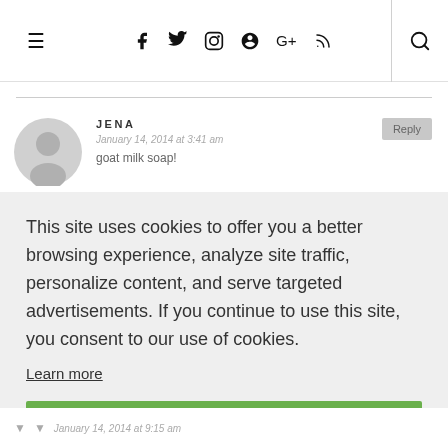≡  f  🐦  📷  📌  G+  )))  🔍
JENA
January 14, 2014 at 3:41 am
goat milk soap!
This site uses cookies to offer you a better browsing experience, analyze site traffic, personalize content, and serve targeted advertisements. If you continue to use this site, you consent to our use of cookies.
Learn more
I AGREE
January 14, 2014 at 9:15 am